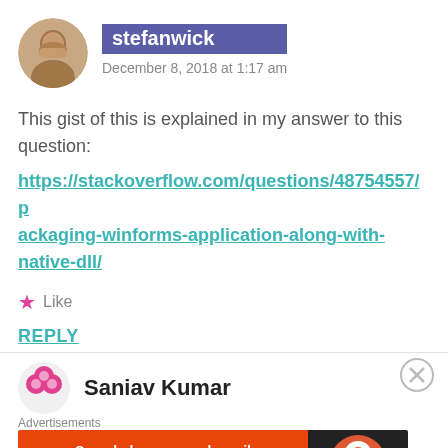[Figure (photo): Circular avatar photo of a man with a beard]
stefanwick
December 8, 2018 at 1:17 am
This gist of this is explained in my answer to this question:
https://stackoverflow.com/questions/48754557/packaging-winforms-application-along-with-native-dll/
★ Like
REPLY
Saniav Kumar
Advertisements
[Figure (infographic): DuckDuckGo advertisement banner: orange left side with text 'Search, browse, and email with more privacy. All in One Free App', dark right side with DuckDuckGo duck logo]